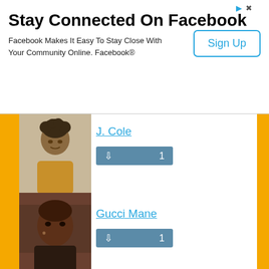[Figure (screenshot): Facebook advertisement banner: 'Stay Connected On Facebook' with 'Sign Up' button]
Stay Connected On Facebook
Facebook Makes It Easy To Stay Close With Your Community Online. Facebook®
[Figure (photo): Photo of J. Cole, musician]
J. Cole
[Figure (photo): Photo of Gucci Mane, musician]
Gucci Mane
[Figure (photo): Photo of Luke Combs, musician]
Luke Combs
[Figure (photo): Partial photo of Machine Gun Kelly, musician]
Machine Gun Kelly